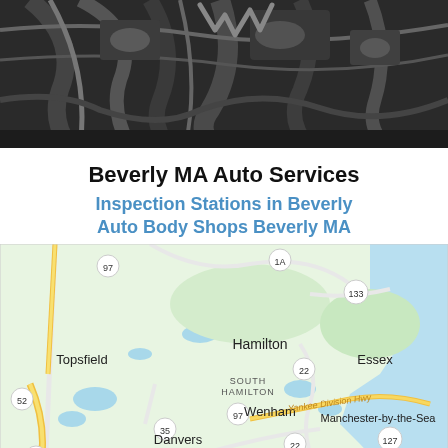[Figure (photo): Black and white close-up photo of a car engine compartment showing hoses, cables and components]
Beverly MA Auto Services
Inspection Stations in Beverly
Auto Body Shops Beverly MA
[Figure (map): Google Maps view of Beverly MA area showing surrounding towns: Topsfield, Hamilton, Essex, South Hamilton, Wenham, Danvers, Beverly, Manchester-by-the-Sea, with route numbers 97, 1A, 133, 22, 35, 127, 95, 52, and Yankee Division Hwy labeled]